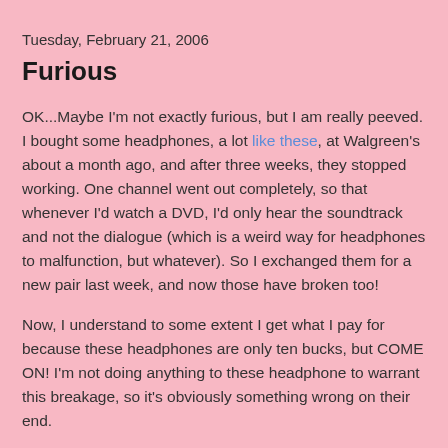Tuesday, February 21, 2006
Furious
OK...Maybe I'm not exactly furious, but I am really peeved. I bought some headphones, a lot like these, at Walgreen's about a month ago, and after three weeks, they stopped working. One channel went out completely, so that whenever I'd watch a DVD, I'd only hear the soundtrack and not the dialogue (which is a weird way for headphones to malfunction, but whatever). So I exchanged them for a new pair last week, and now those have broken too!
Now, I understand to some extent I get what I pay for because these headphones are only ten bucks, but COME ON! I'm not doing anything to these headphone to warrant this breakage, so it's obviously something wrong on their end.
And what annoys me the most is I liked the feel of these headphones a lot more than any others I've had. I have